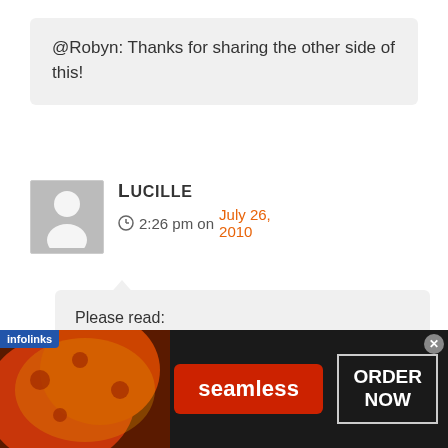@Robyn: Thanks for sharing the other side of this!
LUCILLE
2:26 pm on July 26, 2010
Please read: http://www.nytimes.com/2010/07/
[Figure (screenshot): Seamless food delivery advertisement banner with pizza image, seamless logo in red, and ORDER NOW button]
infolinks